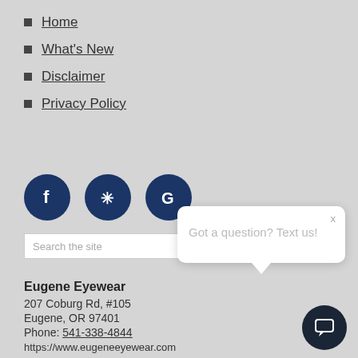Home
What's New
Disclaimer
Privacy Policy
[Figure (illustration): Three circular social media icon buttons: Facebook (f), Yelp (burst star), and Google (G), dark navy blue background]
[Figure (screenshot): Search bar with placeholder text 'Search the site']
Eugene Eyewear
207 Coburg Rd, #105
Eugene, OR 97401
Phone: 541-338-4844
https://www.eugeneeyewear.com
[Figure (infographic): Chat popup widget with text 'Got a question? Text us!' and a close X button, with a speech bubble tail and a dark circle chat button with chat icon]